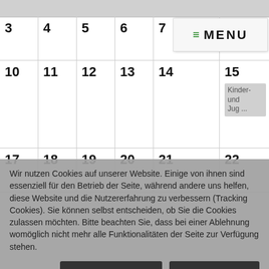[Figure (screenshot): Calendar grid showing days 3-23 with events on day 15 and 16 labeled 'Kinder- und Jug...']
Wir nutzen Cookies auf unserer Website. Einige von ihnen sind essenziell für den Betrieb der Seite, während andere uns helfen, diese Website und die Nutzererfahrung zu verbessern (Tracking Cookies). Sie können selbst entscheiden, ob Sie die Cookies zulassen möchten. Bitte beachten Sie, dass bei einer Ablehnung womöglich nicht mehr alle Funktionalitäten der Seite zur Verfügung stehen.
AKZEPTIEREN
ABLEHNEN
Weitere Informationen